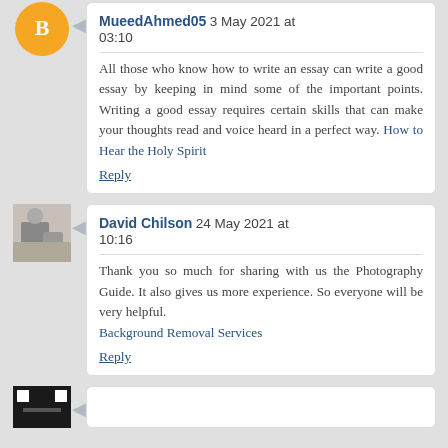MueedAhmed05 3 May 2021 at 03:10 — All those who know how to write an essay can write a good essay by keeping in mind some of the important points. Writing a good essay requires certain skills that can make your thoughts read and voice heard in a perfect way. How to Hear the Holy Spirit
Reply
David Chilson 24 May 2021 at 10:16 — Thank you so much for sharing with us the Photography Guide. It also gives us more experience. So everyone will be very helpful. Background Removal Services
Reply